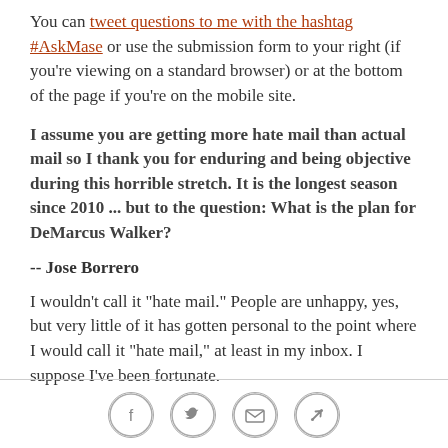You can tweet questions to me with the hashtag #AskMase or use the submission form to your right (if you're viewing on a standard browser) or at the bottom of the page if you're on the mobile site.
I assume you are getting more hate mail than actual mail so I thank you for enduring and being objective during this horrible stretch. It is the longest season since 2010 ... but to the question: What is the plan for DeMarcus Walker?
-- Jose Borrero
I wouldn't call it "hate mail." People are unhappy, yes, but very little of it has gotten personal to the point where I would call it "hate mail," at least in my inbox. I suppose I've been fortunate.
[Figure (other): Social sharing icons: Facebook, Twitter, Email, Link]